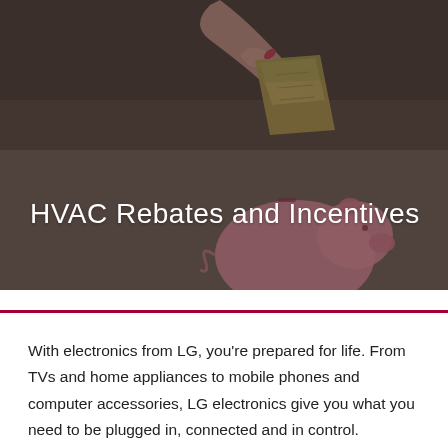[Figure (photo): A hand holding a folded bill of US currency above a pink piggy bank, against a dark grey/brown blurred background. The image conveys saving money.]
HVAC Rebates and Incentives
With electronics from LG, you're prepared for life. From TVs and home appliances to mobile phones and computer accessories, LG electronics give you what you need to be plugged in, connected and in control.